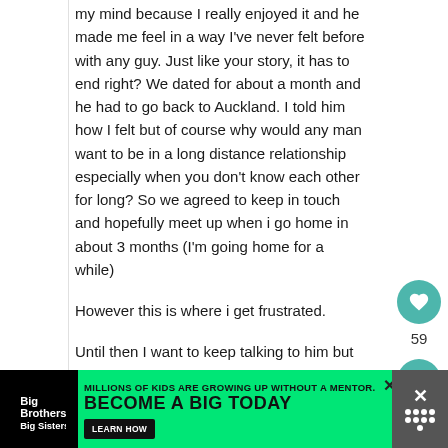my mind because I really enjoyed it and he made me feel in a way I've never felt before with any guy. Just like your story, it has to end right? We dated for about a month and he had to go back to Auckland. I told him how I felt but of course why would any man want to be in a long distance relationship especially when you don't know each other for long? So we agreed to keep in touch and hopefully meet up when i go home in about 3 months (I'm going home for a while)

However this is where i get frustrated.
Until then I want to keep talking to him but
[Figure (infographic): Advertisement banner for Big Brothers Big Sisters of America with green background. Text reads: MILLIONS OF KIDS ARE GROWING UP WITHOUT A MENTOR. BECOME A BIG TODAY. With a Learn How button.]